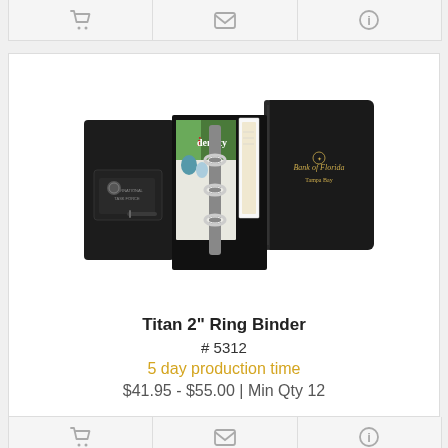[Figure (other): Top action bar with cart, mail, and info icons on light gray background]
[Figure (photo): Photo of Titan 2 inch Ring Binder — black leather binder shown open with rings visible and closed, with Bank of Florida logo embossed on cover]
Titan 2" Ring Binder
# 5312
5 day production time
$41.95 - $55.00 | Min Qty 12
[Figure (other): Bottom action bar with cart, mail, and info icons on light gray background]